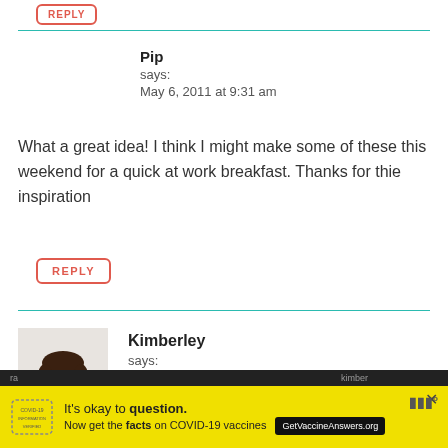REPLY
Pip
says:
May 6, 2011 at 9:31 am
What a great idea! I think I might make some of these this weekend for a quick at work breakfast. Thanks for thie inspiration
REPLY
Kimberley
says:
May 7, 2011 at 1:40 am
[Figure (photo): Profile photo of Kimberley, a woman with dark hair smiling]
It's okay to question. Now get the facts on COVID-19 vaccines GetVaccineAnswers.org